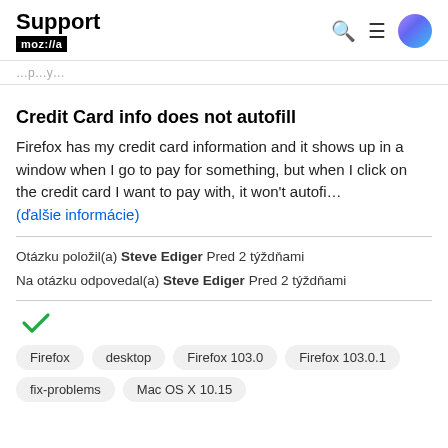Support mozilla:// [search icon] [menu icon] [user icon]
...p...y...
Credit Card info does not autofill
Firefox has my credit card information and it shows up in a window when I go to pay for something, but when I click on the credit card I want to pay with, it won't autofi... (ďalšie informácie)
Otázku položil(a) Steve Ediger Pred 2 týždňami
Na otázku odpovedal(a) Steve Ediger Pred 2 týždňami
[Figure (other): Green checkmark icon]
Firefox   desktop   Firefox 103.0   Firefox 103.0.1   fix-problems   Mac OS X 10.15